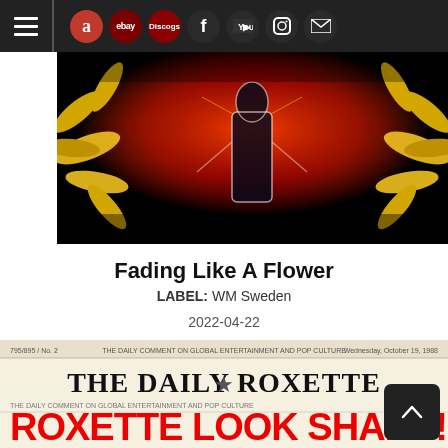Navigation bar with hamburger menu, Amazon, eBay, Discogs, Facebook, YouTube, Instagram, Mail icons
[Figure (photo): Album artwork banner showing an artistic illustration of a figure with yellow sunflower petals on the sides, dark background with red and orange gradient, stylized neon-outlined person in center]
Fading Like A Flower
LABEL: WM Sweden
2022-04-22
MP3 Album: $1.29  DOWNLOAD
[Figure (photo): Bottom portion of a newspaper called 'The Daily Roxette' with headline 'ROXETTE LOOK SHARP!' and subtitle 'The Daily Comment on Global Entertainment and Pop Culture, Wednesday, October 19, 1988']